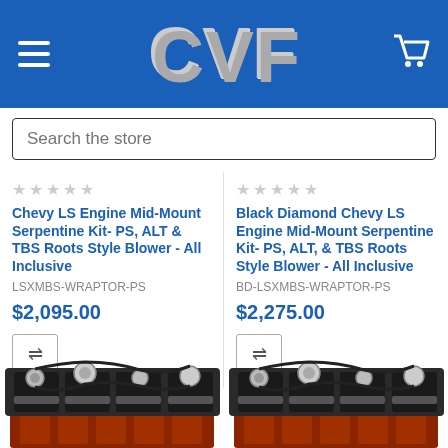CVF
Search the store
Chevy LS Engine Mid-Mount Serpentine Kit- PS, ALT & TBS Roots Style Blower - All Inclusive
LSXMBS-WRAPTOR-PS
$2,095.00
Black Diamond Chevy LS Engine Mid-Mount Serpentine Kit- PS, ALT, & TBS Roots Style Blower - All Inclusive
BD-LSXMBS-WRAPTOR-PS
$2,275.00
[Figure (photo): Chevy LS engine with mid-mount serpentine kit installed, showing chrome and black components with red engine block]
[Figure (photo): Black Diamond Chevy LS engine with mid-mount serpentine kit installed, showing chrome and black components with red engine block]